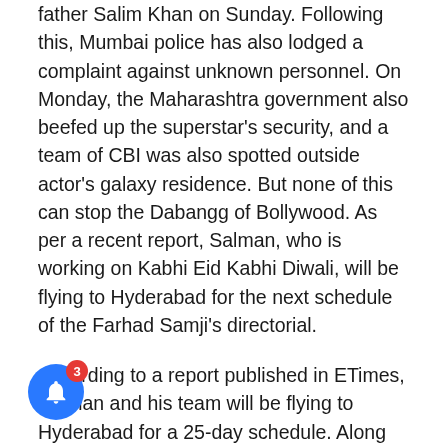father Salim Khan on Sunday. Following this, Mumbai police has also lodged a complaint against unknown personnel. On Monday, the Maharashtra government also beefed up the superstar's security, and a team of CBI was also spotted outside actor's galaxy residence. But none of this can stop the Dabangg of Bollywood. As per a recent report, Salman, who is working on Kabhi Eid Kabhi Diwali, will be flying to Hyderabad for the next schedule of the Farhad Samji's directorial.
According to a report published in ETimes, Salman and his team will be flying to Hyderabad for a 25-day schedule. Along with Salman, Kabhi Eid Kabhi Diwali also stars Pooja Hegde and Shehnaaz Gill. The report also added that Salman will be back in Mumbai post that and will be working on Tiger 3. For the uninitiated, Tiger 3 is the third installment of the popular Tiger franchise. The film will see Salman and Katrina reprising their roles as Tiger and Zoya respectively.